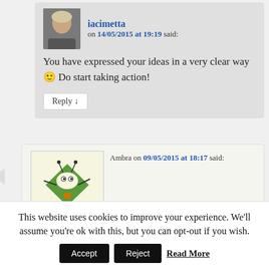iacinetta on 14/05/2015 at 19:19 said:
You have expressed your ideas in a very clear way 🙂 Do start taking action!
Reply ↓
Ambra on 09/05/2015 at 18:17 said:
The first video is amazing: It shows a part of all
This website uses cookies to improve your experience. We'll assume you're ok with this, but you can opt-out if you wish.
Accept
Reject
Read More